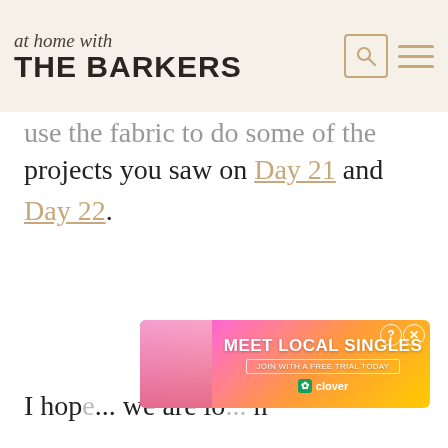at home with THE BARKERS
...use the fabric to do some of the other projects you saw on Day 21 and Day 22.
[Figure (photo): Advertisement banner: MEET LOCAL SINGLES - JOIN WITH A FREE TRIAL TODAY - Clover app ad with woman photo and colorful gradient background]
I hope... we are lo... h